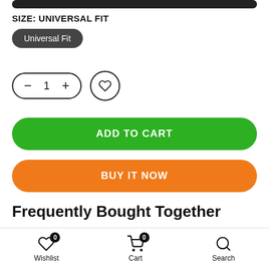SIZE: UNIVERSAL FIT
Universal Fit
– 1 +
ADD TO CART
BUY IT NOW
Frequently Bought Together
Save money buying these products together
Wishlist  Cart  Search